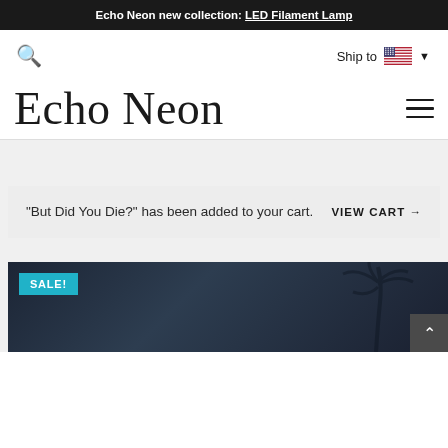Echo Neon new collection: LED Filament Lamp
Ship to
Echo Neon
"But Did You Die?" has been added to your cart.
VIEW CART →
[Figure (photo): Dark nighttime product image with palm tree silhouette; SALE! badge in teal top-left]
SALE!